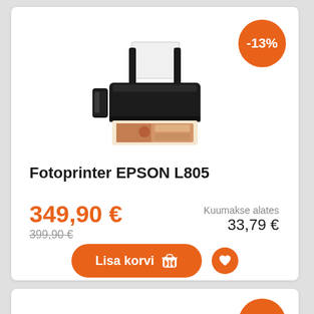[Figure (photo): Epson L805 photo printer product image]
-13%
Fotoprinter EPSON L805
349,90 €
399,90 €
Kuumakse alates 33,79 €
Lisa korvi
-14%